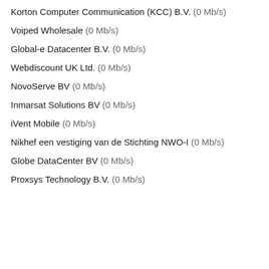Korton Computer Communication (KCC) B.V. (0 Mb/s)
Voiped Wholesale (0 Mb/s)
Global-e Datacenter B.V. (0 Mb/s)
Webdiscount UK Ltd. (0 Mb/s)
NovoServe BV (0 Mb/s)
Inmarsat Solutions BV (0 Mb/s)
iVent Mobile (0 Mb/s)
Nikhef een vestiging van de Stichting NWO-I (0 Mb/s)
Globe DataCenter BV (0 Mb/s)
Proxsys Technology B.V. (0 Mb/s)